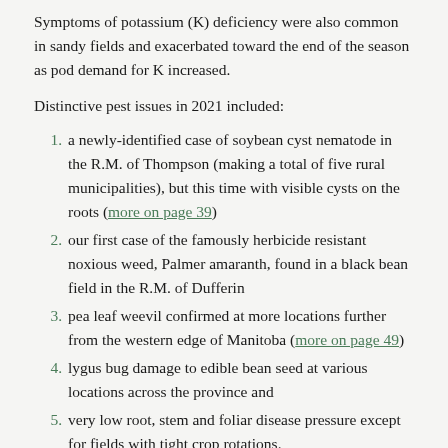Symptoms of potassium (K) deficiency were also common in sandy fields and exacerbated toward the end of the season as pod demand for K increased.
Distinctive pest issues in 2021 included:
a newly-identified case of soybean cyst nematode in the R.M. of Thompson (making a total of five rural municipalities), but this time with visible cysts on the roots (more on page 39)
our first case of the famously herbicide resistant noxious weed, Palmer amaranth, found in a black bean field in the R.M. of Dufferin
pea leaf weevil confirmed at more locations further from the western edge of Manitoba (more on page 49)
lygus bug damage to edible bean seed at various locations across the province and
very low root, stem and foliar disease pressure except for fields with tight crop rotations.